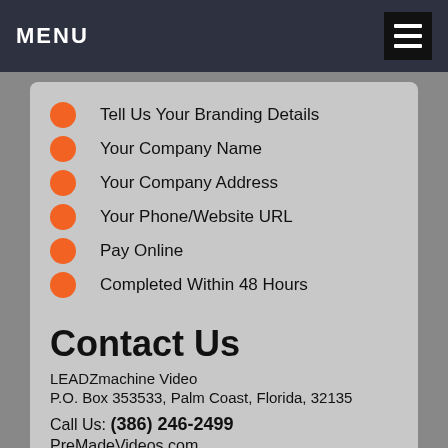MENU
Tell Us Your Branding Details
Your Company Name
Your Company Address
Your Phone/Website URL
Pay Online
Completed Within 48 Hours
Contact Us
LEADZmachine Video
P.O. Box 353533, Palm Coast, Florida, 32135

Call Us: (386) 246-2499
PreMadeVideos.com
ORDER ONLINE HERE